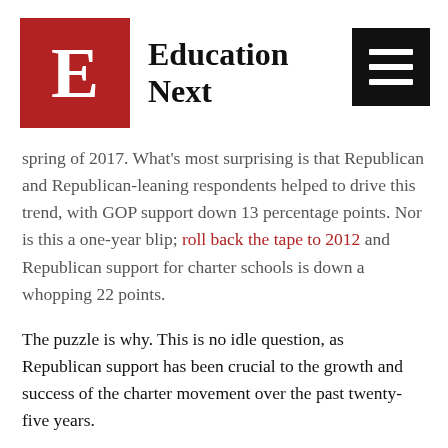Education Next
spring of 2017. What's most surprising is that Republican and Republican-leaning respondents helped to drive this trend, with GOP support down 13 percentage points. Nor is this a one-year blip; roll back the tape to 2012 and Republican support for charter schools is down a whopping 22 points.
The puzzle is why. This is no idle question, as Republican support has been crucial to the growth and success of the charter movement over the past twenty-five years.
While the charter movement has historically received proud bipartisan backing in Washington—Presidents Clinton and Obama both strongly supported charter schools, as have Presidents Bush II and Trump—charters are almost entirely a GOP accomplishment at